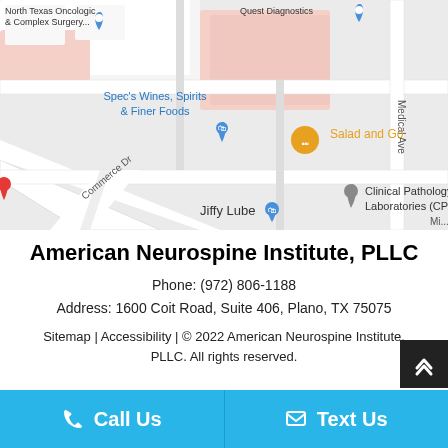[Figure (map): Google Maps screenshot showing the area around 1600 Coit Road, Plano, TX. Visible landmarks include North Texas Oncologic & Complex Surgery, Quest Diagnostics, Spec's Wines Spirits & Finer Foods, Salad and Go, Jiffy Lube, Clinical Pathology Laboratories (CPL), Medical Ave, and Commerce Dr.]
American Neurospine Institute, PLLC
Phone: (972) 806-1188
Address: 1600 Coit Road, Suite 406, Plano, TX 75075
Sitemap | Accessibility | © 2022 American Neurospine Institute, PLLC. All rights reserved.